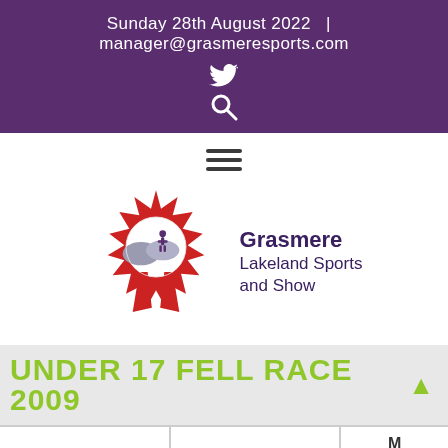Sunday 28th August 2022 | manager@grasmeresports.com
[Figure (logo): Grasmere Lakeland Sports and Show logo — red rosette with silhouette of person on mountain, with text 'Grasmere Lakeland Sports and Show']
UNDER 17 FELL RACE 2009
|  |  | M |
| --- | --- | --- |